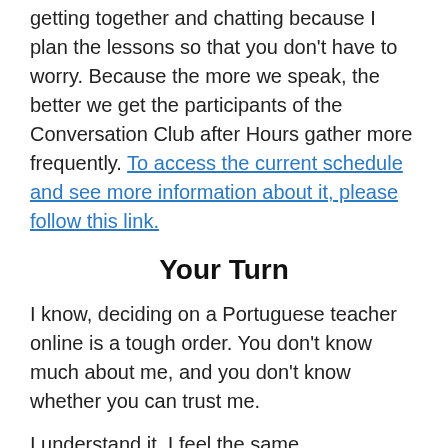getting together and chatting because I plan the lessons so that you don't have to worry. Because the more we speak, the better we get the participants of the Conversation Club after Hours gather more frequently. To access the current schedule and see more information about it, please follow this link.
Your Turn
I know, deciding on a Portuguese teacher online is a tough order. You don't know much about me, and you don't know whether you can trust me.
I understand it. I feel the same.
But if you are reading this, you'd have a chance